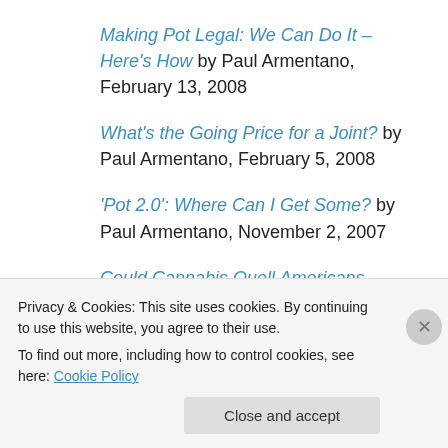Making Pot Legal: We Can Do It – Here's How by Paul Armentano, February 13, 2008
What's the Going Price for a Joint? by Paul Armentano, February 5, 2008
'Pot 2.0': Where Can I Get Some? by Paul Armentano, November 2, 2007
Could Cannabis Quell Americans Addiction to Pain Meds? by Paul Armentano and Chris Goldstein, September 20, 2007
Privacy & Cookies: This site uses cookies. By continuing to use this website, you agree to their use.
To find out more, including how to control cookies, see here: Cookie Policy